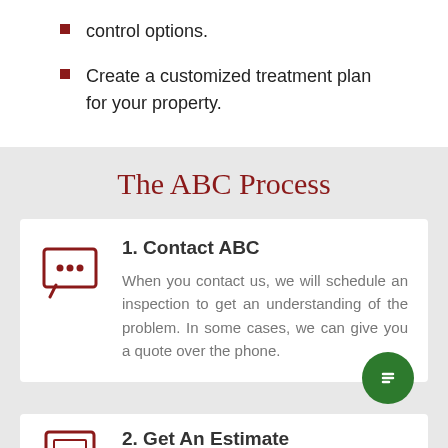control options.
Create a customized treatment plan for your property.
The ABC Process
1. Contact ABC
When you contact us, we will schedule an inspection to get an understanding of the problem. In some cases, we can give you a quote over the phone.
2. Get An Estimate